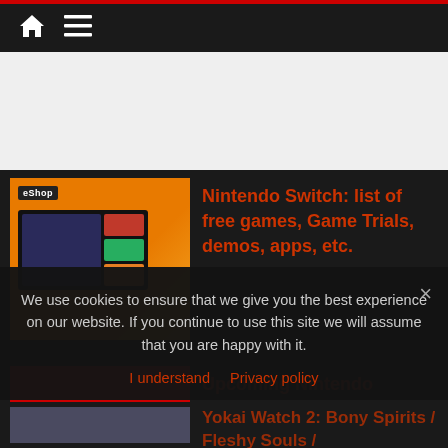Navigation bar with home icon and menu icon
[Figure (other): Advertisement banner placeholder (white/light gray rectangle)]
[Figure (illustration): Nintendo eShop thumbnail — orange background with eShop label and a tablet/Switch showing the eShop store interface]
Nintendo Switch: list of free games, Game Trials, demos, apps, etc.
[Figure (logo): Nintendo red square thumbnail with white Nintendo logo pill/oval]
Upcoming Nintendo Maintenance (Nintendo Switch, Wii U, Nintendo 3DS, Mobile)
[Figure (illustration): Partial Nintendo Switch system update thumbnail with red gradient]
Nintendo Switch: System Updates (latest update...
We use cookies to ensure that we give you the best experience on our website. If you continue to use this site we will assume that you are happy with it.
I understand   Privacy policy
[Figure (photo): Partially visible Yokai Watch game thumbnail]
Yokai Watch 2: Bony Spirits / Fleshy Souls /